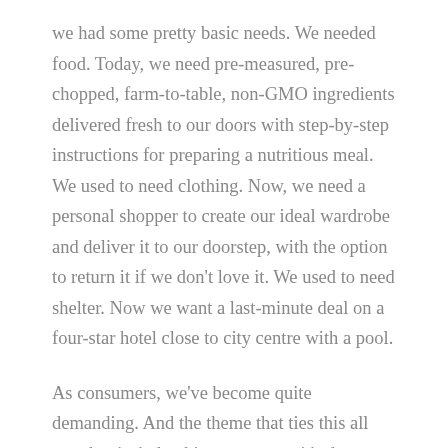we had some pretty basic needs. We needed food. Today, we need pre-measured, pre-chopped, farm-to-table, non-GMO ingredients delivered fresh to our doors with step-by-step instructions for preparing a nutritious meal. We used to need clothing. Now, we need a personal shopper to create our ideal wardrobe and deliver it to our doorstep, with the option to return it if we don't love it. We used to need shelter. Now we want a last-minute deal on a four-star hotel close to city centre with a pool.
As consumers, we've become quite demanding. And the theme that ties this all together isn't the things we want, it's the experiences we demand — the sum total of all of a customer's interactions with a brand, from awareness